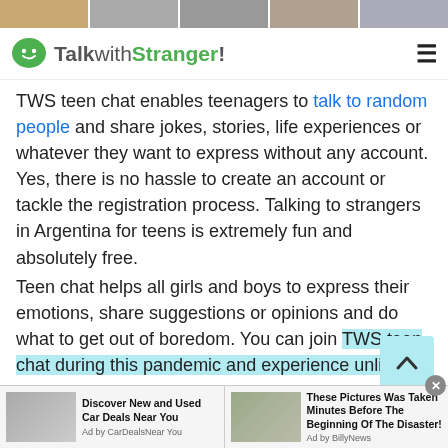[Figure (screenshot): Top image strip with thumbnail photos]
TalkwithStranger!
TWS teen chat enables teenagers to talk to random people and share jokes, stories, life experiences or whatever they want to express without any account. Yes, there is no hassle to create an account or tackle the registration process. Talking to strangers in Argentina for teens is extremely fun and absolutely free.
Teen chat helps all girls and boys to express their emotions, share suggestions or opinions and do what to get out of boredom. You can join TWS teen chat during this pandemic and experience unlimited
[Figure (screenshot): Advertisement bar at bottom with two ad units: 'Discover New and Used Car Deals Near You' and 'These Pictures Was Taken Minutes Before The Beginning Of The Disaster!']